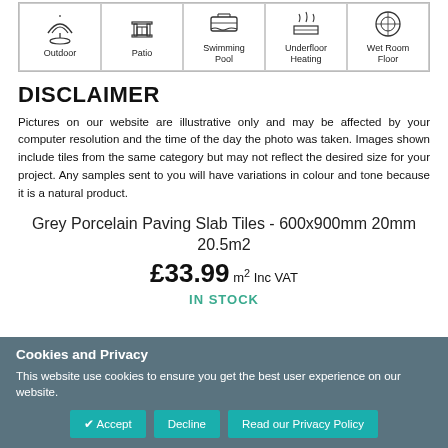[Figure (infographic): Row of 5 icons with labels: Outdoor, Patio, Swimming Pool, Underfloor Heating, Wet Room Floor]
DISCLAIMER
Pictures on our website are illustrative only and may be affected by your computer resolution and the time of the day the photo was taken. Images shown include tiles from the same category but may not reflect the desired size for your project. Any samples sent to you will have variations in colour and tone because it is a natural product.
Grey Porcelain Paving Slab Tiles - 600x900mm 20mm 20.5m2
£33.99 m2 Inc VAT
IN STOCK
Cookies and Privacy
This website use cookies to ensure you get the best user experience on our website.